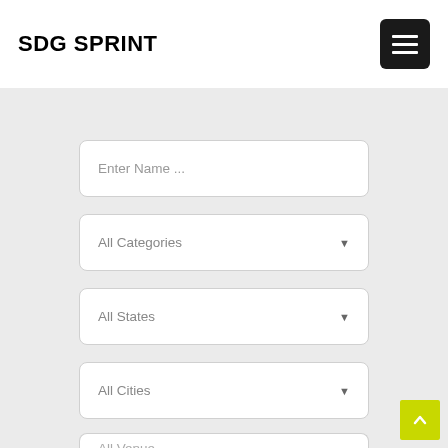SDG SPRINT
[Figure (screenshot): Hamburger menu button (three horizontal lines) on black rounded rectangle background]
[Figure (screenshot): Search/filter form with four dropdown/input fields: Enter Name ..., All Categories, All States, All Cities, and a partial All Venue field at the bottom. Yellow back-to-top button in bottom right corner.]